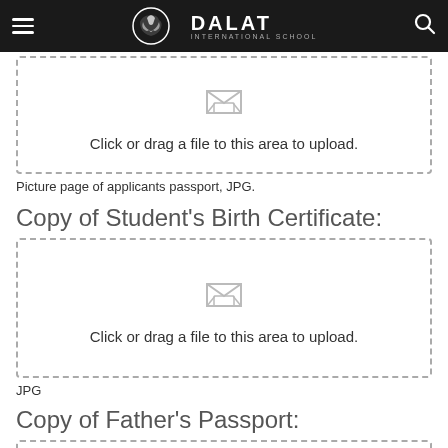Dalat International School
[Figure (other): Upload area with inbox icon and text: Click or drag a file to this area to upload.]
Picture page of applicants passport, JPG.
Copy of Student's Birth Certificate:
[Figure (other): Upload area with inbox icon and text: Click or drag a file to this area to upload.]
JPG
Copy of Father's Passport:
[Figure (other): Upload area with inbox icon partially visible at bottom of page.]